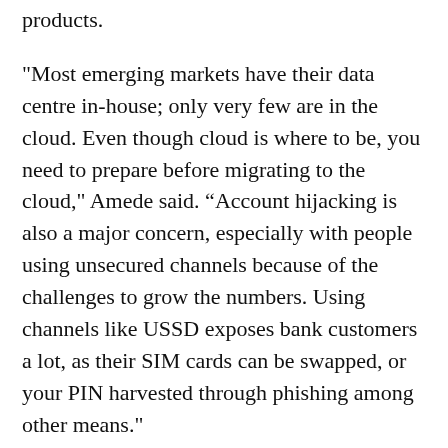products.
"Most emerging markets have their data centre in-house; only very few are in the cloud. Even though cloud is where to be, you need to prepare before migrating to the cloud," Amede said. “Account hijacking is also a major concern, especially with people using unsecured channels because of the challenges to grow the numbers. Using channels like USSD exposes bank customers a lot, as their SIM cards can be swapped, or your PIN harvested through phishing among other means."
Security and Compliance Specialist at Microsoft, Somi Ochuba, explained that as businesses embrace digital transformation, and compete with companies trying to develop their own technology, they would need to develop new digital capabilities using data and information. Ochuba